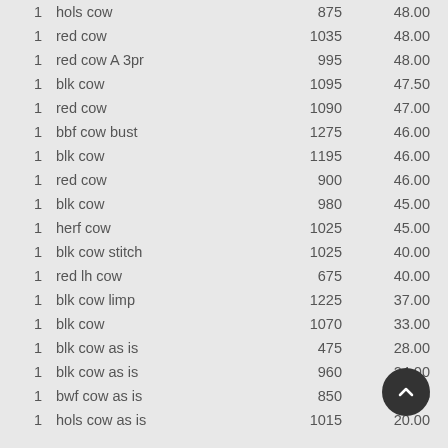| Qty | Description | Weight | Price |
| --- | --- | --- | --- |
| 1 | hols cow | 875 | 48.00 |
| 1 | red cow | 1035 | 48.00 |
| 1 | red cow A 3pr | 995 | 48.00 |
| 1 | blk cow | 1095 | 47.50 |
| 1 | red cow | 1090 | 47.00 |
| 1 | bbf cow bust | 1275 | 46.00 |
| 1 | blk cow | 1195 | 46.00 |
| 1 | red cow | 900 | 46.00 |
| 1 | blk cow | 980 | 45.00 |
| 1 | herf cow | 1025 | 45.00 |
| 1 | blk cow stitch | 1025 | 40.00 |
| 1 | red lh cow | 675 | 40.00 |
| 1 | blk cow limp | 1225 | 37.00 |
| 1 | blk cow | 1070 | 33.00 |
| 1 | blk cow as is | 475 | 28.00 |
| 1 | blk cow as is | 960 | 24.00 |
| 1 | bwf cow as is | 850 | 20.00 |
| 1 | hols cow as is | 1015 | 20.00 |